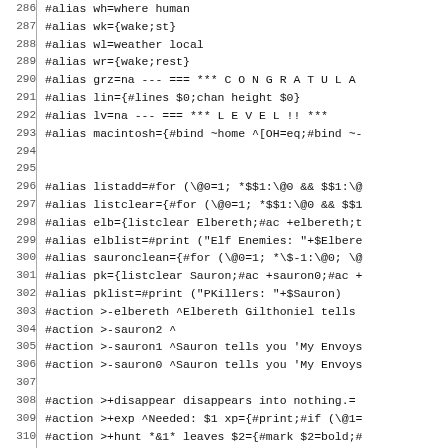Code listing lines 286-316 showing #alias, #action, and #mark commands
| line | code |
| --- | --- |
| 286 | #alias wh=where human |
| 287 | #alias wk={wake;st} |
| 288 | #alias wl=weather local |
| 289 | #alias wr={wake;rest} |
| 290 | #alias grz=na --- === *** C O N G R A T U L A |
| 291 | #alias lin={#lines $0;chan height $0} |
| 292 | #alias lv=na --- === *** L  E  V  E  L  !! *** |
| 293 | #alias macintosh={#bind ~home ^[OH=eq;#bind ~- |
| 294 |  |
| 295 |  |
| 296 | #alias listadd=#for (\@0=1; *$$1:\@0 && $$1:\@ |
| 297 | #alias listclear={#for (\@0=1; *$$1:\@0 && $$1 |
| 298 | #alias elb={listclear Elbereth;#ac +elbereth;t |
| 299 | #alias elblist=#print ("Elf Enemies: "+$Elbere |
| 300 | #alias sauronclean={#for (\@0=1; *\$-1:\@0; \@ |
| 301 | #alias pk={listclear Sauron;#ac +sauron0;#ac + |
| 302 | #alias pklist=#print ("PKillers: "+$Sauron) |
| 303 | #action >-elbereth ^Elbereth Gilthoniel tells |
| 304 | #action >-sauron2 ^ |
| 305 | #action >-sauron1 ^Sauron tells you 'My Envoys |
| 306 | #action >-sauron0 ^Sauron tells you 'My Envoys |
| 307 |  |
| 308 | #action >+disappear disappears into nothing.= |
| 309 | #action >+exp ^Needed: $1 xp={#print;#if (\@1= |
| 310 | #action >+hunt *&1* leaves $2={#mark $2=bold;# |
| 311 | #action >+save Saving=#print ("---> "+\$0+" <- |
| 312 | #action >-someone ^Your blood freezes as you h |
| 313 | #action >+Willow A sudden drowsiness overcomes |
| 314 |  |
| 315 | #mark sitting=bold |
| 316 | #mark                                          |